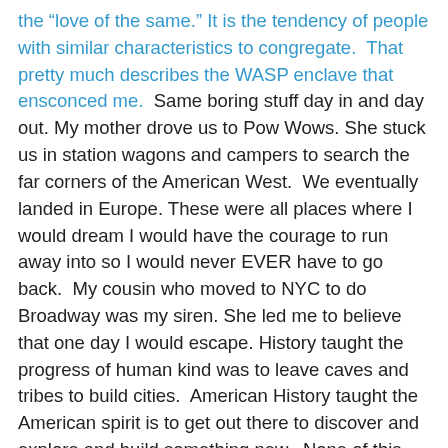the “love of the same.” It is the tendency of people with similar characteristics to congregate.  That pretty much describes the WASP enclave that ensconced me.  Same boring stuff day in and day out. My mother drove us to Pow Wows. She stuck us in station wagons and campers to search the far corners of the American West.  We eventually landed in Europe. These were all places where I would dream I would have the courage to run away into so I would never EVER have to go back.  My cousin who moved to NYC to do Broadway was my siren. She led me to believe that one day I would escape. History taught the progress of human kind was to leave caves and tribes to build cities.  American History taught the American spirit is to get out there to discover and explore and build something new.  None of this included the iconography of firmly planted sofas.